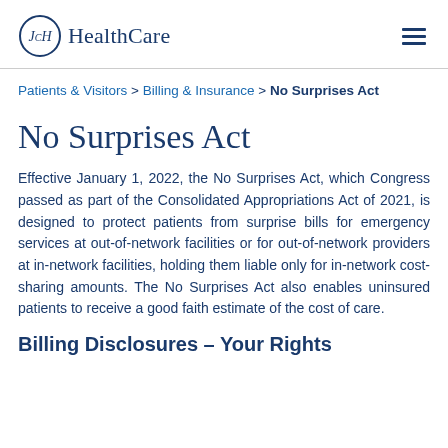JCH HealthCare
Patients & Visitors > Billing & Insurance > No Surprises Act
No Surprises Act
Effective January 1, 2022, the No Surprises Act, which Congress passed as part of the Consolidated Appropriations Act of 2021, is designed to protect patients from surprise bills for emergency services at out-of-network facilities or for out-of-network providers at in-network facilities, holding them liable only for in-network cost-sharing amounts. The No Surprises Act also enables uninsured patients to receive a good faith estimate of the cost of care.
Billing Disclosures – Your Rights